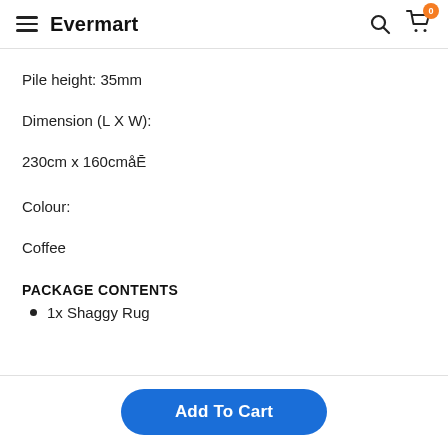Evermart
Pile height: 35mm
Dimension (L X W):
230cm x 160cmåĒ
Colour:
Coffee
PACKAGE CONTENTS
1x Shaggy Rug